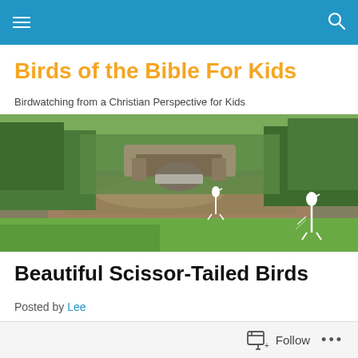Birds of the Bible For Kids — navigation bar with hamburger menu and search icon
Birds of the Bible For Kids
Birdwatching from a Christian Perspective for Kids
[Figure (photo): Wide panoramic photo of a creek or river scene with trees, a stone bridge in the background, and two white egrets standing in and near the water, with green grass and lush vegetation in the foreground.]
Beautiful Scissor-Tailed Birds
Posted by Lee
Follow  ...